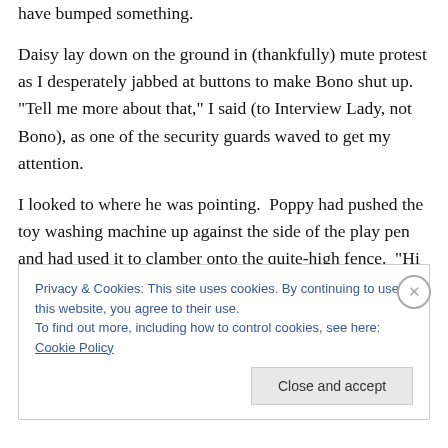have bumped something.
Daisy lay down on the ground in (thankfully) mute protest as I desperately jabbed at buttons to make Bono shut up.  "Tell me more about that," I said (to Interview Lady, not Bono), as one of the security guards waved to get my attention.
I looked to where he was pointing.  Poppy had pushed the toy washing machine up against the side of the play pen and had used it to clamber onto the quite-high fence.  "Hi
Privacy & Cookies: This site uses cookies. By continuing to use this website, you agree to their use.
To find out more, including how to control cookies, see here: Cookie Policy
Close and accept